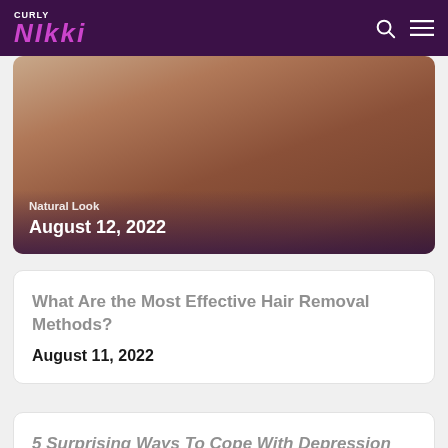Curly Nikki
[Figure (photo): Close-up photo of a person's neck/jawline area, with text overlay showing category 'Natural Look' and date 'August 12, 2022']
Natural Look
August 12, 2022
What Are the Most Effective Hair Removal Methods?
August 11, 2022
5 Surprising Ways To Cope With Depression and Anxiety
August 3, 2022